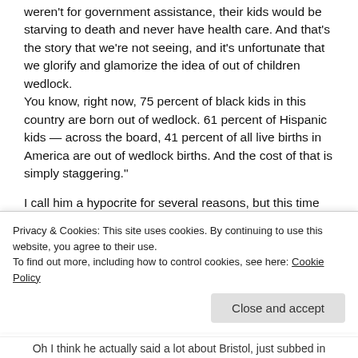weren't for government assistance, their kids would be starving to death and never have health care. And that's the story that we're not seeing, and it's unfortunate that we glorify and glamorize the idea of out of children wedlock. You know, right now, 75 percent of black kids in this country are born out of wedlock. 61 percent of Hispanic kids — across the board, 41 percent of all live births in America are out of wedlock births. And the cost of that is simply staggering."
I call him a hypocrite for several reasons, but this time it's because he never said a single word about Bristol Palin, the unwed mother of Sarah Palin. And Sarah trotted out Bristol and baby on the political stage, more than once.
Privacy & Cookies: This site uses cookies. By continuing to use this website, you agree to their use.
To find out more, including how to control cookies, see here: Cookie Policy
Oh I think he actually said a lot about Bristol, just subbed in